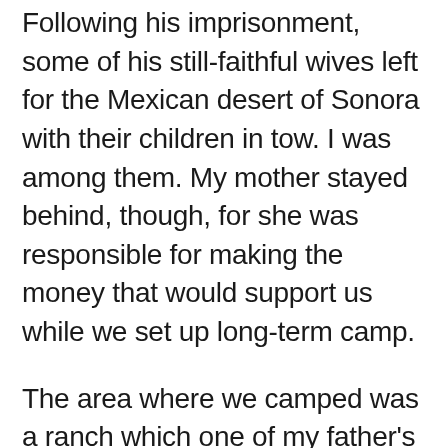Following his imprisonment, some of his still-faithful wives left for the Mexican desert of Sonora with their children in tow. I was among them. My mother stayed behind, though, for she was responsible for making the money that would support us while we set up long-term camp.
The area where we camped was a ranch which one of my father's followers purchased a year or so earlier. It was officially named La Joya, but everyone just called it the ranch. It was here that most of the worst things happened. My fathers followers broke into two separate factions, then began using his "blood atonement"